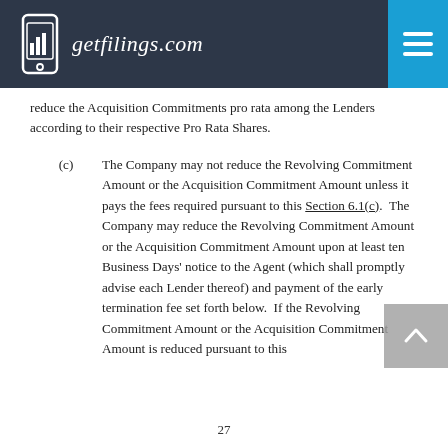getfilings.com
reduce the Acquisition Commitments pro rata among the Lenders according to their respective Pro Rata Shares.
(c)	The Company may not reduce the Revolving Commitment Amount or the Acquisition Commitment Amount unless it pays the fees required pursuant to this Section 6.1(c).  The Company may reduce the Revolving Commitment Amount or the Acquisition Commitment Amount upon at least ten Business Days' notice to the Agent (which shall promptly advise each Lender thereof) and payment of the early termination fee set forth below.  If the Revolving Commitment Amount or the Acquisition Commitment Amount is reduced pursuant to this
27